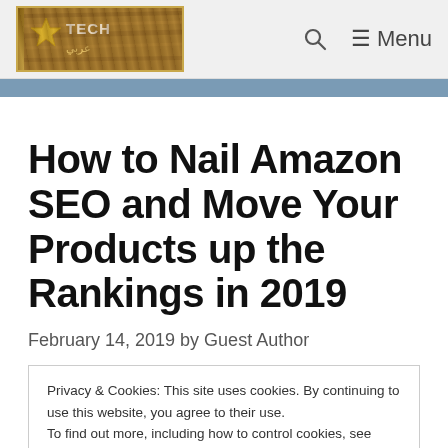TECH [logo] | Search | Menu
How to Nail Amazon SEO and Move Your Products up the Rankings in 2019
February 14, 2019 by Guest Author
Privacy & Cookies: This site uses cookies. By continuing to use this website, you agree to their use.
To find out more, including how to control cookies, see here: Cookie Policy
[Close and accept button]